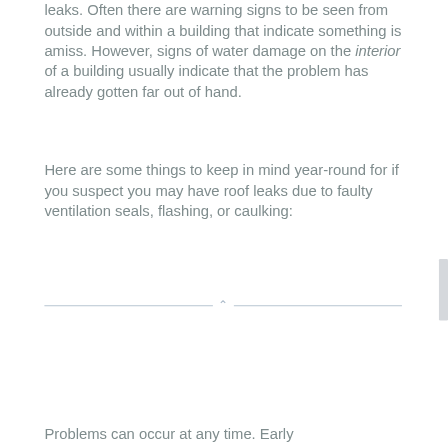leaks. Often there are warning signs to be seen from outside and within a building that indicate something is amiss. However, signs of water damage on the interior of a building usually indicate that the problem has already gotten far out of hand.
Here are some things to keep in mind year-round for if you suspect you may have roof leaks due to faulty ventilation seals, flashing, or caulking:
Problems can occur at any time. Early